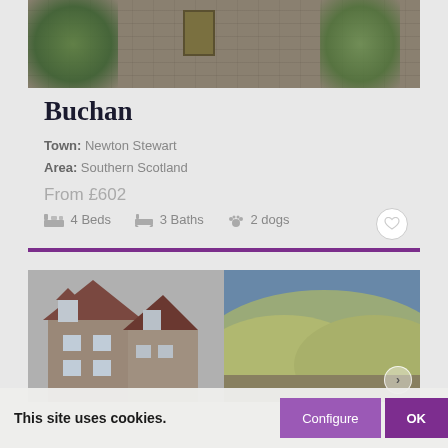[Figure (photo): Exterior photo of a stone cottage with a wooden door, covered in ivy and surrounded by trees and greenery]
Buchan
Town: Newton Stewart
Area: Southern Scotland
From £602
4 Beds   3 Baths   2 dogs
[Figure (photo): Exterior photo of a stone house with dormer windows and red roof tiles, set against a hillside background]
This site uses cookies.